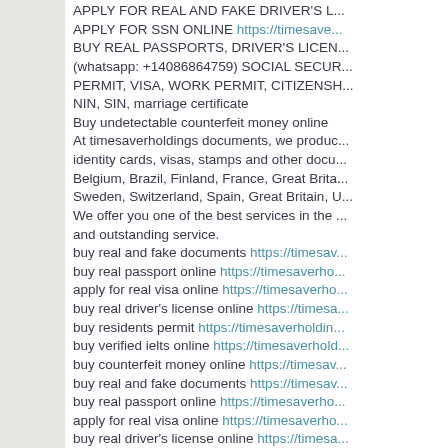APPLY FOR REAL AND FAKE DRIVER'S LICENSE ONLINE APPLY FOR SSN ONLINE https://timesaverholdings.com BUY REAL PASSPORTS, DRIVER'S LICENSE (whatsapp: +14086864759) SOCIAL SECURITY CARD PERMIT, VISA, WORK PERMIT, CITIZENSHIP, NIN, SIN, marriage certificate Buy undetectable counterfeit money online At timesaverholdings documents, we produce real identity cards, visas, stamps and other documents for Belgium, Brazil, Finland, France, Great Britain, Sweden, Switzerland, Spain, Great Britain, U... We offer you one of the best services in the world and outstanding service. buy real and fake documents https://timesaverholdings.com buy real passport online https://timesaverholdings.com apply for real visa online https://timesaverholdings.com buy real driver's license online https://timesaverholdings.com buy residents permit https://timesaverholdings.com buy verified ielts online https://timesaverholdings.com buy counterfeit money online https://timesaverholdings.com buy real and fake documents https://timesaverholdings.com buy real passport online https://timesaverholdings.com apply for real visa online https://timesaverholdings.com buy real driver's license online https://timesaverholdings.com buy residents permit https://timesaverholdings.com